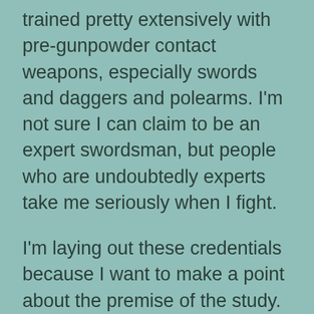trained pretty extensively with pre-gunpowder contact weapons, especially swords and daggers and polearms. I'm not sure I can claim to be an expert swordsman, but people who are undoubtedly experts take me seriously when I fight.
I'm laying out these credentials because I want to make a point about the premise of the study. When you've trained with enough different varieties of swords – and my experience spans everything from very late dueling epees back to Viking-era cut-and-thrust weapons built in ways that go back to very similar prototypes in